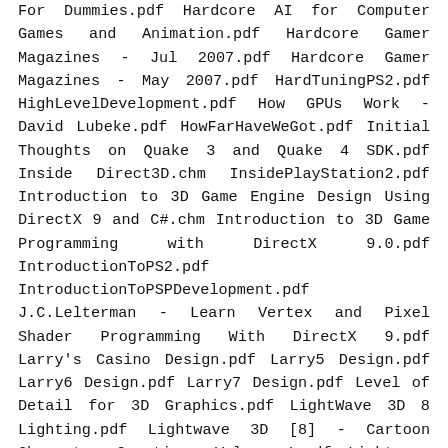For Dummies.pdf Hardcore AI for Computer Games and Animation.pdf Hardcore Gamer Magazines - Jul 2007.pdf Hardcore Gamer Magazines - May 2007.pdf HardTuningPS2.pdf HighLevelDevelopment.pdf How GPUs Work - David Lubeke.pdf HowFarHaveWeGot.pdf Initial Thoughts on Quake 3 and Quake 4 SDK.pdf Inside Direct3D.chm InsidePlayStation2.pdf Introduction to 3D Game Engine Design Using DirectX 9 and C#.chm Introduction to 3D Game Programming with DirectX 9.0.pdf IntroductionToPS2.pdf IntroductionToPSPDevelopment.pdf J.C.Lelterman - Learn Vertex and Pixel Shader Programming With DirectX 9.pdf Larry's Casino Design.pdf Larry5 Design.pdf Larry6 Design.pdf Larry7 Design.pdf Level of Detail for 3D Graphics.pdf LightWave 3D 8 Lighting.pdf Lightwave 3D [8] - Cartoon Character Creation, Volume 1.pdf Lightwave 3D [8] - Character Animation.pdf Lightwave 3D [8], Cartoon Character Creation, Volume 2.pdf Linux Games